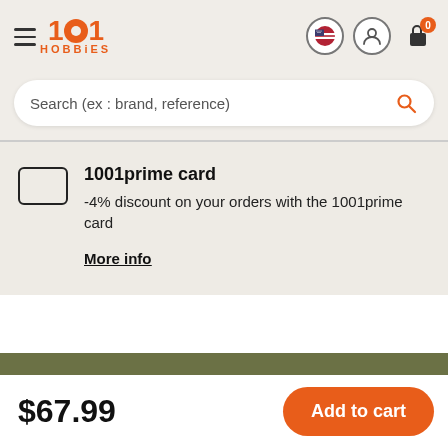1001 HOBBIES
Search (ex : brand, reference)
1001prime card
-4% discount on your orders with the 1001prime card
More info
$67.99
Add to cart